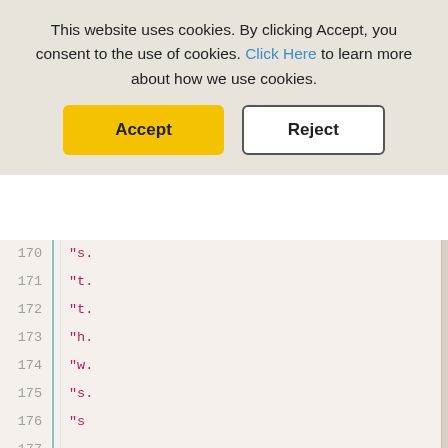This website uses cookies. By clicking Accept, you consent to the use of cookies. Click Here to learn more about how we use cookies.
[Figure (screenshot): Cookie consent banner with Accept (yellow) and Reject (white/outlined) buttons over a code editor showing line numbers 170-185 with partially visible string values in a code file.]